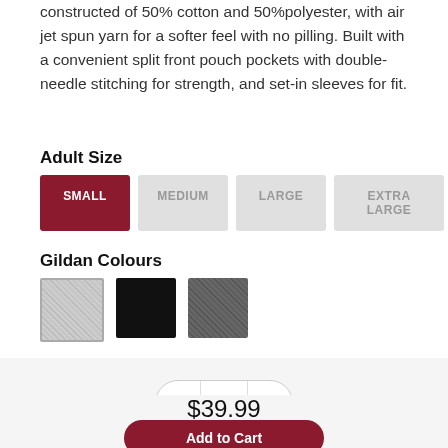constructed of 50% cotton and 50% polyester, with air jet spun yarn for a softer feel with no pilling. Built with a convenient split front pouch pockets with double-needle stitching for strength, and set-in sleeves for fit.
Adult Size
SMALL | MEDIUM | LARGE | EXTRA LARGE
Gildan Colours
[Figure (other): Three fabric colour swatches: light grey textured, black, dark grey textured]
1
$39.99
Add to Cart